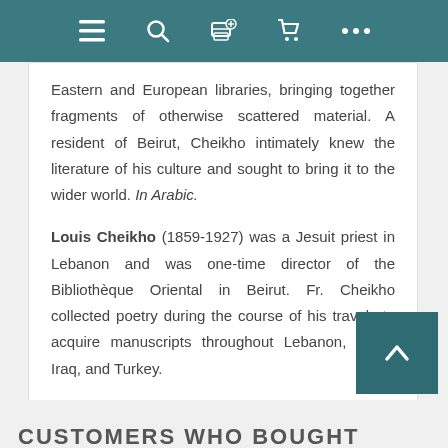Navigation bar with hamburger, search, printer, cart, and more icons
Eastern and European libraries, bringing together fragments of otherwise scattered material. A resident of Beirut, Cheikho intimately knew the literature of his culture and sought to bring it to the wider world. In Arabic.
Louis Cheikho (1859-1927) was a Jesuit priest in Lebanon and was one-time director of the Bibliothèque Oriental in Beirut. Fr. Cheikho collected poetry during the course of his travels to acquire manuscripts throughout Lebanon, Syria, Iraq, and Turkey.
CUSTOMERS WHO BOUGHT